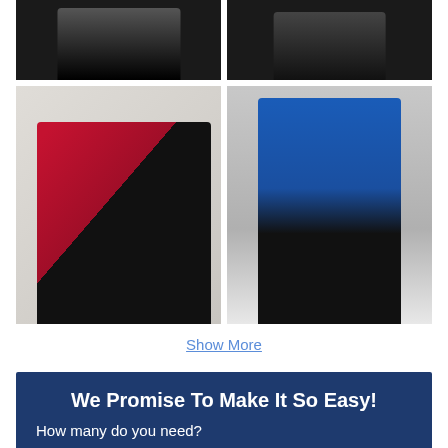[Figure (photo): Two clothing product photos in top row: left shows person in black outfit from waist down, right shows person in dark suit from waist down]
[Figure (photo): Two clothing product photos in bottom row: left shows a woman in red shirt and man in black striped shirt, right shows a man in blue long-sleeve polo shirt and black shorts]
Show More
We Promise To Make It So Easy!
How many do you need?